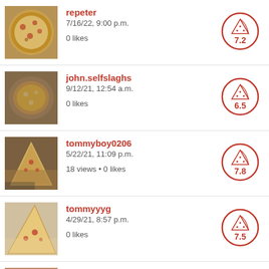repeter
7/16/22, 9:00 p.m.
0 likes
Score: 7.2
john.selfslaghs
9/12/21, 12:54 a.m.
0 likes
Score: 6.5
tommyboy0206
5/22/21, 11:09 p.m.
18 views • 0 likes
Score: 7.8
tommyyyg
4/29/21, 8:57 p.m.
0 likes
Score: 7.5
isaac.griffith
12/20/20, 5:16 p.m.
Score: (partial)